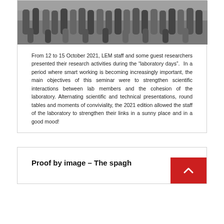[Figure (photo): Group photo of LEM staff and guest researchers outdoors in a sunny place]
From 12 to 15 October 2021, LEM staff and some guest researchers presented their research activities during the “laboratory days”. In a period where smart working is becoming increasingly important, the main objectives of this seminar were to strengthen scientific interactions between lab members and the cohesion of the laboratory. Alternating scientific and technical presentations, round tables and moments of conviviality, the 2021 edition allowed the staff of the laboratory to strengthen their links in a sunny place and in a good mood!
Proof by image – The spagh